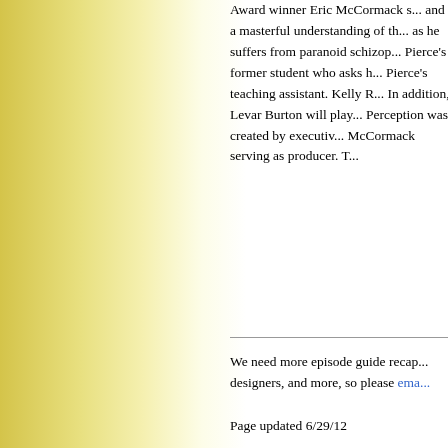Award winner Eric McCormack s... and a masterful understanding of th... as he suffers from paranoid schizop... Pierce's former student who asks h... Pierce's teaching assistant. Kelly R... In addition, Levar Burton will play... Perception was created by executiv... McCormack serving as producer. T...
We need more episode guide recap... designers, and more, so please ema...
Page updated 6/29/12
Back to the Main Primetime TV Pa...
[Figure (other): Comedy button tab with teal/mint gradient background]
[Figure (logo): Google search logo with search input box and Web/S radio buttons]